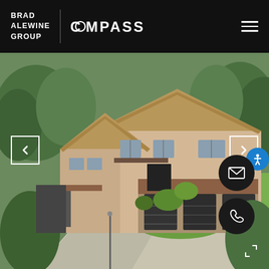BRAD ALEWINE GROUP | COMPASS
[Figure (photo): Aerial view of a large two-story suburban home with tile roofs, three-car garage, circular driveway, and landscaped yard surrounded by trees.]
[Figure (other): Left navigation arrow (previous image)]
[Figure (other): Right navigation arrow (next image)]
[Figure (other): Accessibility button (blue circle with person icon)]
[Figure (other): Email contact button (black circle with envelope icon)]
[Figure (other): Phone contact button (black circle with phone icon)]
[Figure (other): Fullscreen icon in bottom right corner]